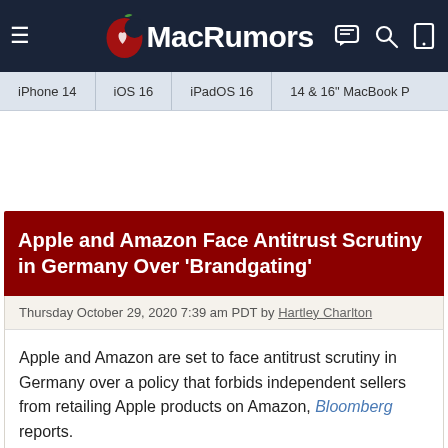MacRumors
iPhone 14 | iOS 16 | iPadOS 16 | 14 & 16" MacBook P
Apple and Amazon Face Antitrust Scrutiny in Germany Over 'Brandgating'
Thursday October 29, 2020 7:39 am PDT by Hartley Charlton
Apple and Amazon are set to face antitrust scrutiny in Germany over a policy that forbids independent sellers from retailing Apple products on Amazon, Bloomberg reports.